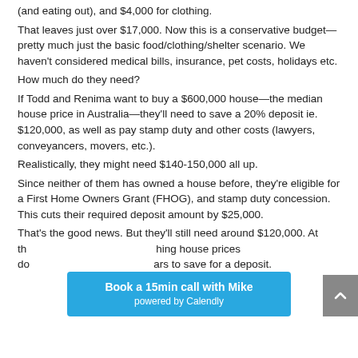(and eating out), and $4,000 for clothing. That leaves just over $17,000. Now this is a conservative budget—pretty much just the basic food/clothing/shelter scenario. We haven't considered medical bills, insurance, pet costs, holidays etc. How much do they need? If Todd and Renima want to buy a $600,000 house—the median house price in Australia—they'll need to save a 20% deposit ie. $120,000, as well as pay stamp duty and other costs (lawyers, conveyancers, movers, etc.). Realistically, they might need $140-150,000 all up. Since neither of them has owned a house before, they're eligible for a First Home Owners Grant (FHOG), and stamp duty concession. This cuts their required deposit amount by $25,000. That's the good news. But they'll still need around $120,000. At th... house prices do... ars to save for a deposit.
Book a 15min call with Mike powered by Calendly